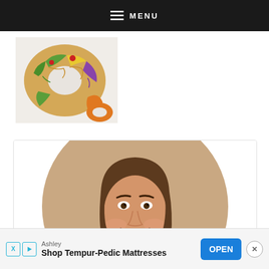MENU
[Figure (photo): Overhead view of a colorful king cake (Mardi Gras ring cake) with green, yellow, red, and purple frosting decorations on a white surface]
[Figure (photo): Circular profile photo of a smiling young woman with long brown hair against a tan/beige background, shown from shoulders up]
Ashley
Shop Tempur-Pedic Mattresses
OPEN